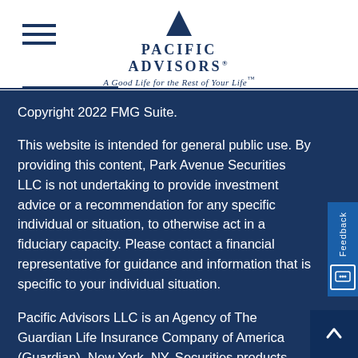Pacific Advisors® — A Good Life for the Rest of Your Life™
Copyright 2022 FMG Suite.
This website is intended for general public use. By providing this content, Park Avenue Securities LLC is not undertaking to provide investment advice or a recommendation for any specific individual or situation, to otherwise act in a fiduciary capacity. Please contact a financial representative for guidance and information that is specific to your individual situation.
Pacific Advisors LLC is an Agency of The Guardian Life Insurance Company of America (Guardian), New York, NY. Securities products and advisory services offered through Park Avenue Securities, LLC (PAS), member FINRA, SIPC. OSJ: 333 N Indian Hill Blvd, Claremont, CA 91711, 909-399-1100. PAS is a wholly owned